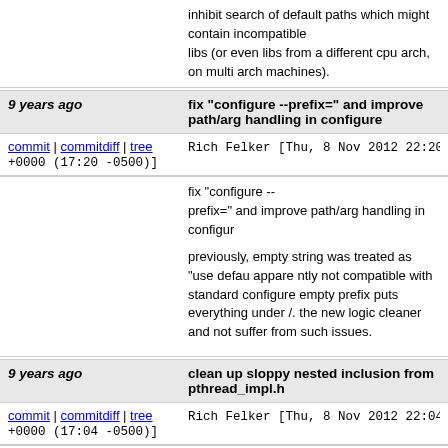inhibit search of default paths which might contain incompatible libs (or even libs from a different cpu arch, on multi arch machines).
9 years ago   fix "configure --prefix=" and improve path/arg handling in configure
commit | commitdiff | tree   Rich Felker [Thu, 8 Nov 2012 22:20:50 +0000 (17:20 -0500)]
fix "configure -- prefix=" and improve path/arg handling in configure

previously, empty string was treated as "use defau... apparently not compatible with standard configure empty prefix puts everything under /. the new logic cleaner and not suffer from such issues.
9 years ago   clean up sloppy nested inclusion from pthread_impl.h
commit | commitdiff | tree   Rich Felker [Thu, 8 Nov 2012 22:04:20 +0000 (17:04 -0500)]
clean up sloppy nested inclusion from pthread_im...

this mirrors the stdio_impl.h cleanup. one header w strictly needed. errno.h. is left in pthread_impl.h